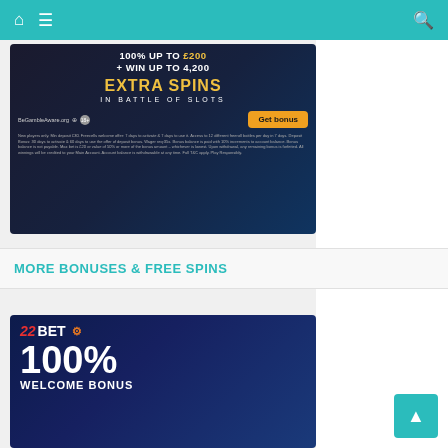Navigation bar with home icon, menu icon, and search icon
[Figure (infographic): Casino bonus advertisement: 100% UP TO £200 + WIN UP TO 4,200 EXTRA SPINS IN BATTLE OF SLOTS. BeGambleAware.org logo, 18+ icon, Get bonus button. Terms and conditions text below.]
MORE BONUSES & FREE SPINS
[Figure (infographic): 22BET casino advertisement: 100% WELCOME BONUS banner with logo, roulette wheel and crypto coin graphics in dark blue background.]